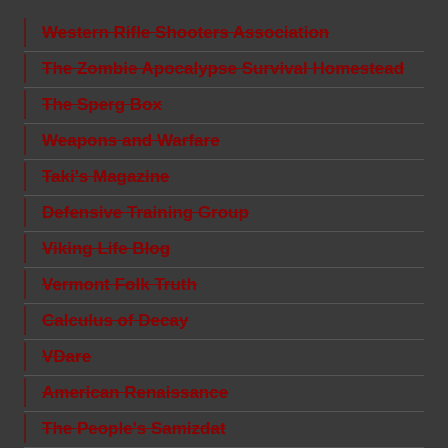Western Rifle Shooters Association
The Zombie Apocalypse Survival Homestead
The Sperg Box
Weapons and Warfare
Taki's Magazine
Defensive Training Group
Viking Life Blog
Vermont Folk Truth
Calculus of Decay
VDare
American Renaissance
The People's Samizdat
Arktos
Antelope Hill Publishing